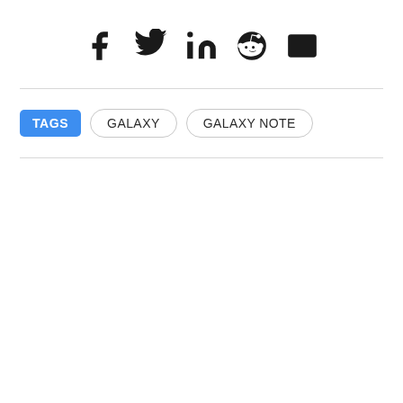[Figure (other): Social media share icons: Facebook, Twitter, LinkedIn, Reddit, Email (envelope)]
TAGS  GALAXY  GALAXY NOTE